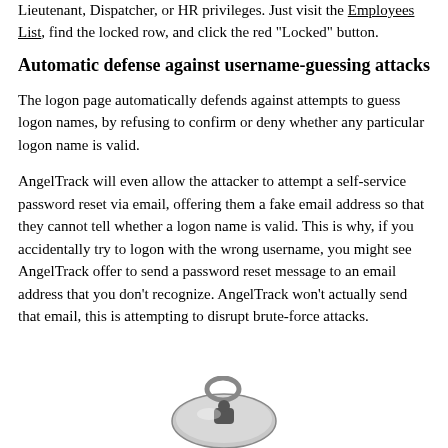Lieutenant, Dispatcher, or HR privileges. Just visit the Employees List, find the locked row, and click the red "Locked" button.
Automatic defense against username-guessing attacks
The logon page automatically defends against attempts to guess logon names, by refusing to confirm or deny whether any particular logon name is valid.
AngelTrack will even allow the attacker to attempt a self-service password reset via email, offering them a fake email address so that they cannot tell whether a logon name is valid. This is why, if you accidentally try to logon with the wrong username, you might see AngelTrack offer to send a password reset message to an email address that you don't recognize. AngelTrack won't actually send that email, this is attempting to disrupt brute-force attacks.
[Figure (photo): Partial image of a padlock at the bottom of the page]